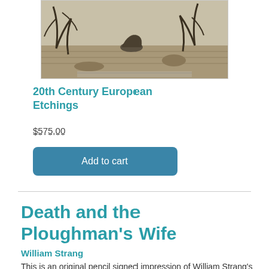[Figure (illustration): Etching artwork showing a dark landscape scene with figures, presented in a framed box with sepia/gray tones]
20th Century European Etchings
$575.00
Add to cart
Death and the Ploughman's Wife
William Strang
This is an original pencil signed impression of William Strang's etching, Death and the Ploughman's Wife.  This etching was created and printed in 1888.  It was published in an edition of 110 impressions. This image appears in the Binyon catalog as image